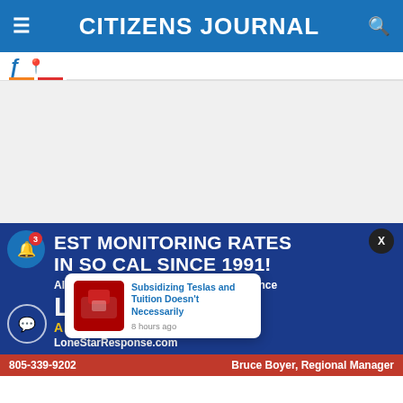CITIZENS JOURNAL
[Figure (screenshot): Citizens Journal website navigation bar with hamburger menu, title, and search icon on blue background]
[Figure (screenshot): Social media icon bar with Facebook and Pinterest icons with orange and red underlines]
[Figure (advertisement): Lone Star alarm advertisement with text: BEST MONITORING RATES IN SO CAL SINCE 1991! Alarms Fire Alarms Video Surveillance. LONE STAR ALARMS. LoneStarResponse.com. 805-339-9202. Bruce Boyer Regional Manager. Notification popup: Subsidizing Teslas and Tuition Doesn't Necessarily. 8 hours ago.]